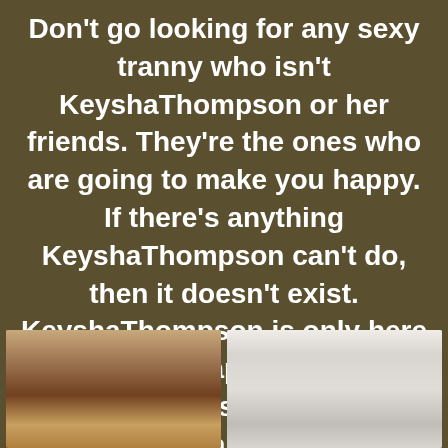Don't go looking for any sexy tranny who isn't KeyshaThompson or her friends. They're the ones who are going to make you happy. If there's anything KeyshaThompson can't do, then it doesn't exist. KeyshaThompson is only here to make you happy and all you have to do is ask for what you want.
[Figure (photo): Two side-by-side photos of women at the bottom of the image]